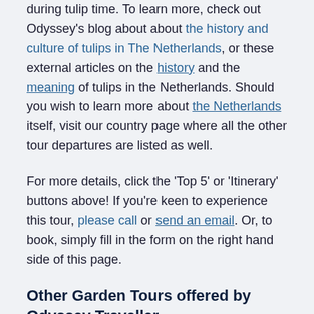during tulip time. To learn more, check out Odyssey's blog about about the history and culture of tulips in The Netherlands, or these external articles on the history and the meaning of tulips in the Netherlands. Should you wish to learn more about the Netherlands itself, visit our country page where all the other tour departures are listed as well.
For more details, click the 'Top 5' or 'Itinerary' buttons above! If you're keen to experience this tour, please call or send an email. Or, to book, simply fill in the form on the right hand side of this page.
Other Garden Tours offered by Odyssey Traveller
This is a fully escorted 7 day program for a small group